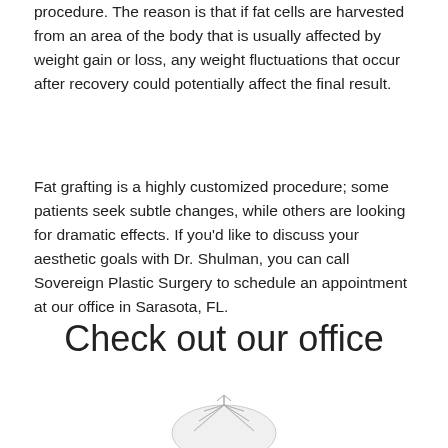procedure. The reason is that if fat cells are harvested from an area of the body that is usually affected by weight gain or loss, any weight fluctuations that occur after recovery could potentially affect the final result.
Fat grafting is a highly customized procedure; some patients seek subtle changes, while others are looking for dramatic effects. If you'd like to discuss your aesthetic goals with Dr. Shulman, you can call Sovereign Plastic Surgery to schedule an appointment at our office in Sarasota, FL.
Check out our office
[Figure (photo): Partially visible image at bottom of page, appears to be a loading or placeholder image]